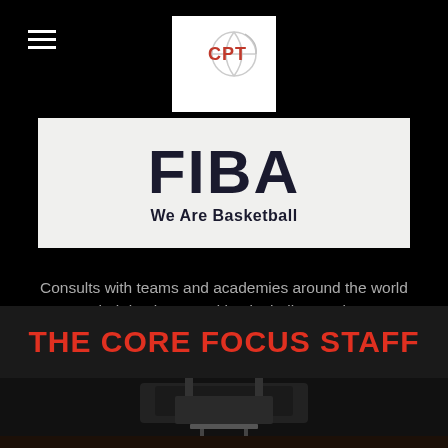[Figure (logo): CPT basketball logo with basketball graphic and text]
[Figure (logo): FIBA logo with text 'FIBA' and tagline 'We Are Basketball']
Consults with teams and academies around the world on their business and basketball operations.
He has trained athletes from over 40 countries.
THE CORE FOCUS STAFF
[Figure (photo): Basketball arena interior viewed from court level, partially visible at bottom of page]